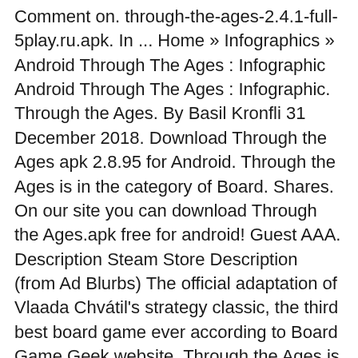Comment on. through-the-ages-2.4.1-full-5play.ru.apk. In ... Home » Infographics » Android Through The Ages : Infographic Android Through The Ages : Infographic. Through the Ages. By Basil Kronfli 31 December 2018. Download Through the Ages apk 2.8.95 for Android. Through the Ages is in the category of Board. Shares. On our site you can download Through the Ages.apk free for android! Guest AAA. Description Steam Store Description (from Ad Blurbs) The official adaptation of Vlaada Chvátil's strategy classic, the third best board game ever according to Board Game Geek website. Through the Ages is on Android - Sort of. Through the Ages (Package Name: com.czechgames.tta) is developed by CGE digital and the latest version of Through the Ages 2.8.113 was updated on November 10, 2020. Android through the ages: the history of Google's smartphone OS. Guests 16 September 2019 18:29. Download Through the Ages apk 2.8.113 for Android. See also its site. Android